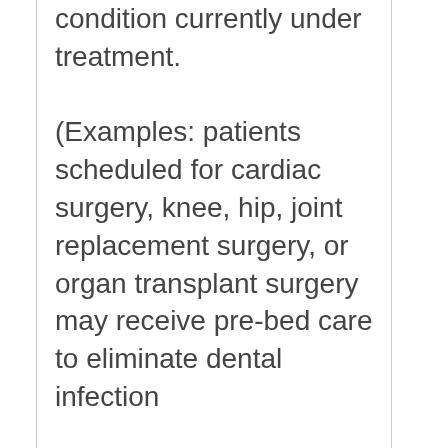condition currently under treatment. (Examples: patients scheduled for cardiac surgery, knee, hip, joint replacement surgery, or organ transplant surgery may receive pre-bed care to eliminate dental infection